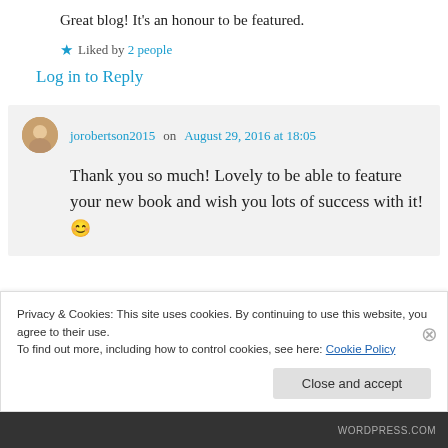Great blog! It's an honour to be featured.
★ Liked by 2 people
Log in to Reply
jorobertson2015 on August 29, 2016 at 18:05
Thank you so much! Lovely to be able to feature your new book and wish you lots of success with it! 😊
Privacy & Cookies: This site uses cookies. By continuing to use this website, you agree to their use.
To find out more, including how to control cookies, see here: Cookie Policy